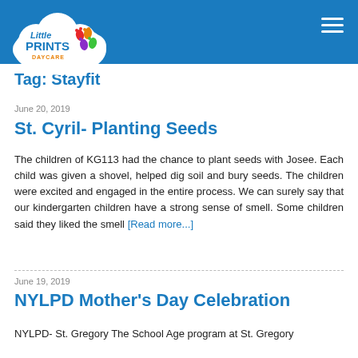Little Prints Daycare
Tag: Stayfit
June 20, 2019
St. Cyril- Planting Seeds
The children of KG113 had the chance to plant seeds with Josee. Each child was given a shovel, helped dig soil and bury seeds. The children were excited and engaged in the entire process. We can surely say that our kindergarten children have a strong sense of smell. Some children said they liked the smell [Read more...]
June 19, 2019
NYLPD Mother's Day Celebration
NYLPD- St. Gregory The School Age program at St. Gregory